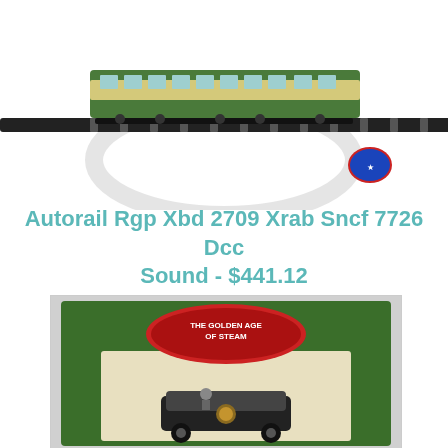[Figure (photo): Model train on tracks with circular display stand, small logo badge in lower right]
Autorail Rgp Xbd 2709 Xrab Sncf 7726 Dcc Sound - $441.12
Autorail Rgp Xbd 2709 Xrab Sncf 7726 Dcc Sound
[Figure (photo): Model toy vehicle in green and cream 'The Golden Age of Steam' packaging box]